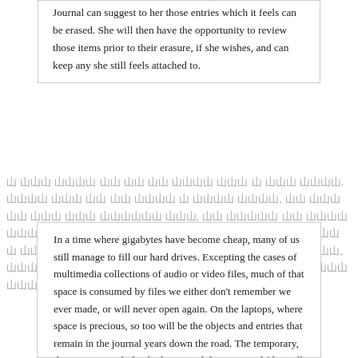Journal can suggest to her those entries which it feels can be erased. She will then have the opportunity to review those items prior to their erasure, if she wishes, and can keep any she still feels attached to.
[Korean/obscured text paragraph]
In a time where gigabytes have become cheap, many of us still manage to fill our hard drives. Excepting the cases of multimedia collections of audio or video files, much of that space is consumed by files we either don't remember we ever made, or will never open again. On the laptops, where space is precious, so too will be the objects and entries that remain in the journal years down the road. The temporary, the experimental, the duplicate, and the unwanted files will naturally fall off the bottom, maintaining a browsable history of those that remain important to the children.